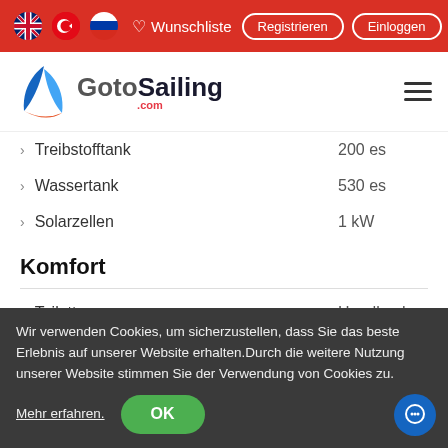GotoSailing.com navigation bar with flags, Wunschliste, Registrieren, Einloggen
[Figure (logo): GotoSailing.com logo with blue sail graphic and hamburger menu icon]
Treibstofftank   200 es
Wassertank   530 es
Solarzellen   1 kW
Komfort
Toilette   Handbuch
Nur Kühlschrank
Navigation
Wir verwenden Cookies, um sicherzustellen, dass Sie das beste Erlebnis auf unserer Website erhalten.Durch die weitere Nutzung unserer Website stimmen Sie der Verwendung von Cookies zu.
Mehr erfahren.   OK